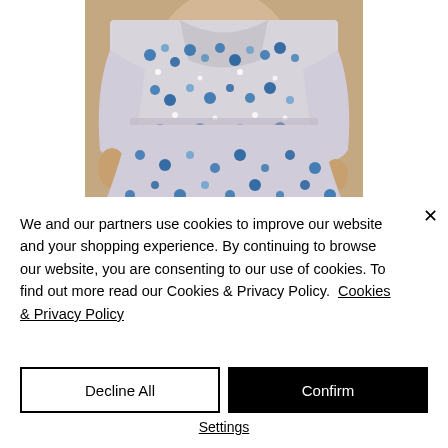[Figure (photo): Woman wearing a floral blue and grey dress with long sleeves, photographed against a tan/beige background. Only the torso and hands are visible.]
We and our partners use cookies to improve our website and your shopping experience. By continuing to browse our website, you are consenting to our use of cookies. To find out more read our Cookies & Privacy Policy.  Cookies & Privacy Policy
Decline All
Confirm
Settings